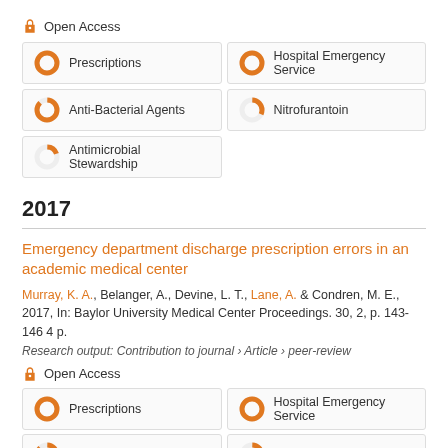[Figure (infographic): Open Access icon (orange open padlock)]
Open Access
Prescriptions | Hospital Emergency Service | Anti-Bacterial Agents | Nitrofurantoin | Antimicrobial Stewardship
2017
Emergency department discharge prescription errors in an academic medical center
Murray, K. A., Belanger, A., Devine, L. T., Lane, A. & Condren, M. E., 2017, In: Baylor University Medical Center Proceedings. 30, 2, p. 143-146 4 p.
Research output: Contribution to journal › Article › peer-review
[Figure (infographic): Open Access icon (orange open padlock)]
Open Access
Prescriptions | Hospital Emergency Service | Anti-Bacterial Agents | Nitrofurantoin (partial)